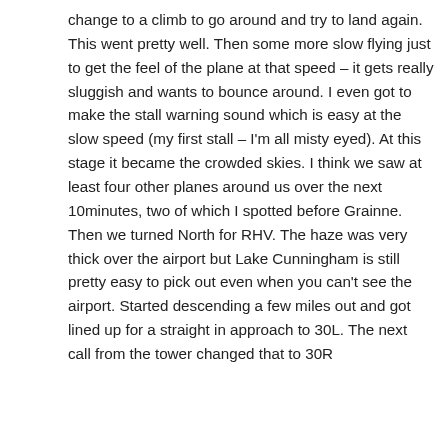change to a climb to go around and try to land again. This went pretty well. Then some more slow flying just to get the feel of the plane at that speed – it gets really sluggish and wants to bounce around. I even got to make the stall warning sound which is easy at the slow speed (my first stall – I'm all misty eyed). At this stage it became the crowded skies. I think we saw at least four other planes around us over the next 10minutes, two of which I spotted before Grainne. Then we turned North for RHV. The haze was very thick over the airport but Lake Cunningham is still pretty easy to pick out even when you can't see the airport. Started descending a few miles out and got lined up for a straight in approach to 30L. The next call from the tower changed that to 30R